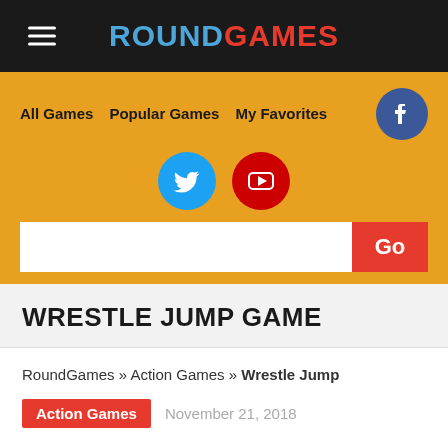ROUNDGAMES
All Games
Popular Games
My Favorites
WRESTLE JUMP GAME
RoundGames » Action Games » Wrestle Jump
Action Games  November 21, 2018